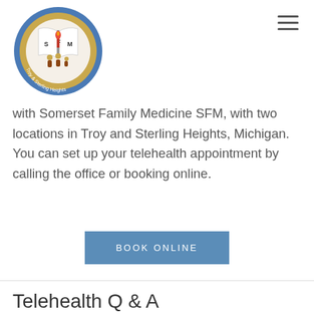[Figure (logo): Somerset Family Medicine SFM circular logo with blue border, gold background, open book with S F M letters, family figures, and text 'Troy & Sterling Heights']
with Somerset Family Medicine SFM, with two locations in Troy and Sterling Heights, Michigan. You can set up your telehealth appointment by calling the office or booking online.
BOOK ONLINE
Telehealth Q & A